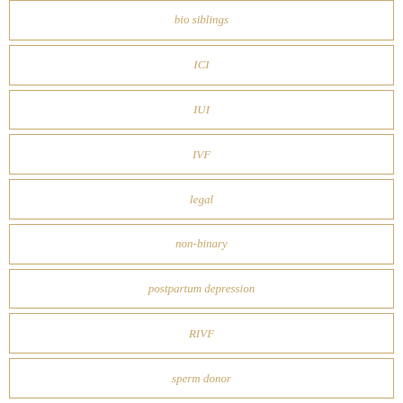bio siblings
ICI
IUI
IVF
legal
non-binary
postpartum depression
RIVF
sperm donor